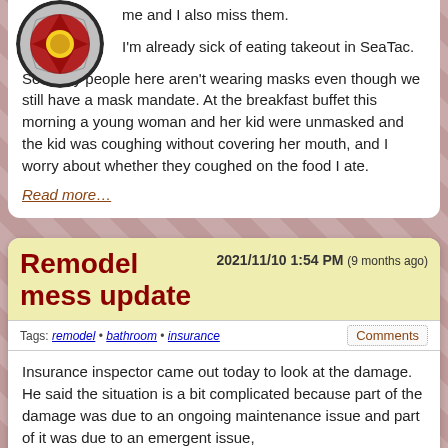me and I also miss them.

I'm already sick of eating takeout in SeaTac.

So many people here aren't wearing masks even though we still have a mask mandate. At the breakfast buffet this morning a young woman and her kid were unmasked and the kid was coughing without covering her mouth, and I worry about whether they coughed on the food I ate.
Read more…
Remodel mess update
2021/11/10 1:54 PM (9 months ago)
Tags: remodel • bathroom • insurance
Comments
Insurance inspector came out today to look at the damage. He said the situation is a bit complicated because part of the damage was due to an ongoing maintenance issue and part of it was due to an emergent issue,